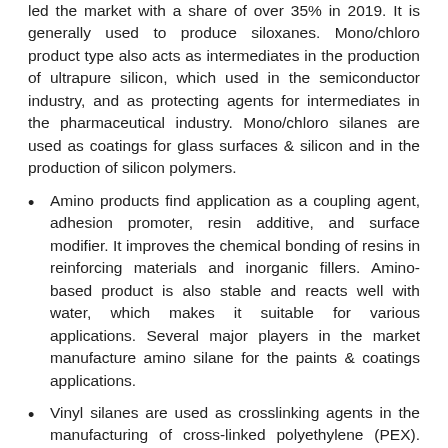led the market with a share of over 35% in 2019. It is generally used to produce siloxanes. Mono/chloro product type also acts as intermediates in the production of ultrapure silicon, which used in the semiconductor industry, and as protecting agents for intermediates in the pharmaceutical industry. Mono/chloro silanes are used as coatings for glass surfaces & silicon and in the production of silicon polymers.
Amino products find application as a coupling agent, adhesion promoter, resin additive, and surface modifier. It improves the chemical bonding of resins in reinforcing materials and inorganic fillers. Amino-based product is also stable and reacts well with water, which makes it suitable for various applications. Several major players in the market manufacture amino silane for the paints & coatings applications.
Vinyl silanes are used as crosslinking agents in the manufacturing of cross-linked polyethylene (PEX). They are also used as adhesion promoters and